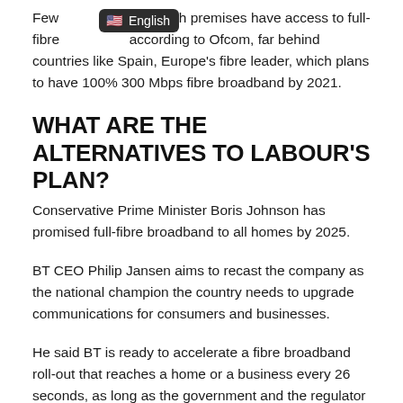Few [English badge] of British premises have access to full-fibre [obscured] according to Ofcom, far behind countries like Spain, Europe's fibre leader, which plans to have 100% 300 Mbps fibre broadband by 2021.
WHAT ARE THE ALTERNATIVES TO LABOUR'S PLAN?
Conservative Prime Minister Boris Johnson has promised full-fibre broadband to all homes by 2025.
BT CEO Philip Jansen aims to recast the company as the national champion the country needs to upgrade communications for consumers and businesses.
He said BT is ready to accelerate a fibre broadband roll-out that reaches a home or a business every 26 seconds, as long as the government and the regulator create